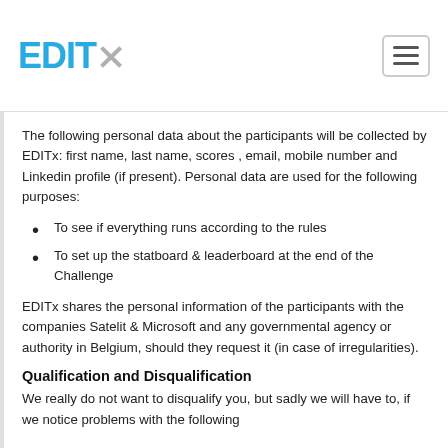EDITx
The following personal data about the participants will be collected by EDITx: first name, last name, scores , email, mobile number and Linkedin profile (if present). Personal data are used for the following purposes:
To see if everything runs according to the rules
To set up the statboard & leaderboard at the end of the Challenge
EDITx shares the personal information of the participants with the companies Satelit & Microsoft and any governmental agency or authority in Belgium, should they request it (in case of irregularities).
Qualification and Disqualification
We really do not want to disqualify you, but sadly we will have to, if we notice problems with the following